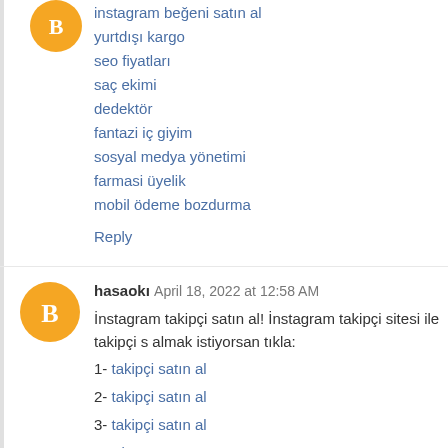instagram beğeni satın al
yurtdışı kargo
seo fiyatları
saç ekimi
dedektör
fantazi iç giyim
sosyal medya yönetimi
farmasi üyelik
mobil ödeme bozdurma
Reply
hasaokı  April 18, 2022 at 12:58 AM
İnstagram takipçi satın al! İnstagram takipçi sitesi ile takipçi s almak istiyorsan tıkla:
1- takipçi satın al
2- takipçi satın al
3- takipçi satın al
Reply